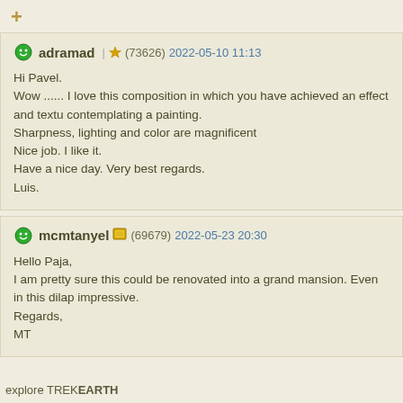+
adramad (73626) 2022-05-10 11:13
Hi Pavel.
Wow ...... I love this composition in which you have achieved an effect and textu contemplating a painting.
Sharpness, lighting and color are magnificent
Nice job. I like it.
Have a nice day. Very best regards.
Luis.
mcmtanyel (69679) 2022-05-23 20:30
Hello Paja,
I am pretty sure this could be renovated into a grand mansion. Even in this dilap impressive.
Regards,
MT
explore TREKEARTH